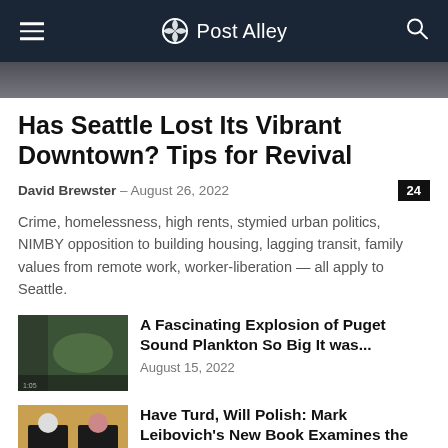Post Alley
Has Seattle Lost Its Vibrant Downtown? Tips for Revival
David Brewster – August 26, 2022
Crime, homelessness, high rents, stymied urban politics, NIMBY opposition to building housing, lagging transit, family values from remote work, worker-liberation — all apply to Seattle.
[Figure (photo): Thumbnail image of Puget Sound plankton satellite view]
A Fascinating Explosion of Puget Sound Plankton So Big It was...
August 15, 2022
[Figure (photo): Thumbnail image of Trump with another person]
Have Turd, Will Polish: Mark Leibovich's New Book Examines the Trump...
September 4, 2022
[Figure (photo): Thumbnail image for Labor Day article]
Putting the Labor Back into Labor Day